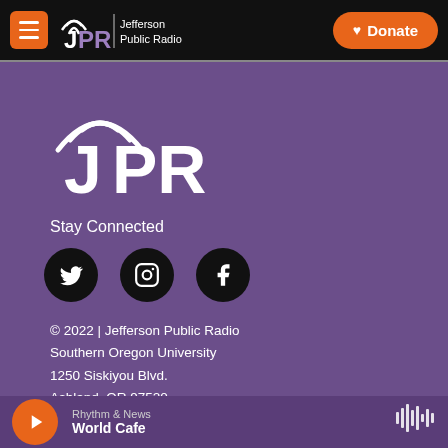JPR Jefferson Public Radio | Donate
[Figure (logo): JPR Jefferson Public Radio large logo on purple background]
Stay Connected
[Figure (infographic): Social media icons: Twitter, Instagram, Facebook]
© 2022 | Jefferson Public Radio
Southern Oregon University
1250 Siskiyou Blvd.
Ashland, OR 97520
541.552.6301 | 800.782.6191
Contact Us
Rhythm & News
World Cafe